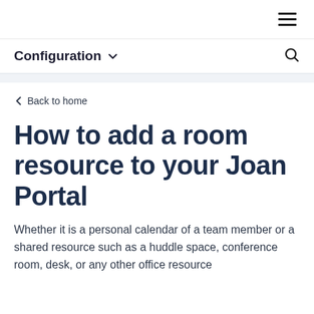☰
Configuration ∨
< Back to home
How to add a room resource to your Joan Portal
Whether it is a personal calendar of a team member or a shared resource such as a huddle space, conference room, desk, or any other office resource